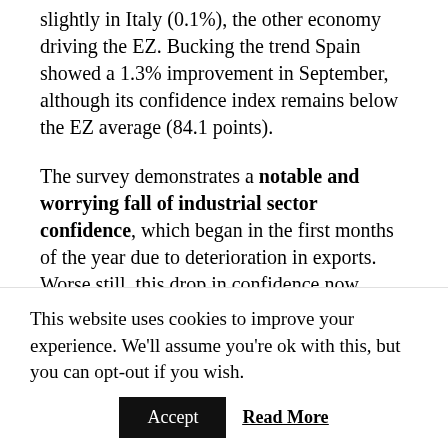slightly in Italy (0.1%), the other economy driving the EZ. Bucking the trend Spain showed a 1.3% improvement in September, although its confidence index remains below the EZ average (84.1 points).
The survey demonstrates a notable and worrying fall of industrial sector confidence, which began in the first months of the year due to deterioration in exports. Worse still, this drop in confidence now appears to have spread to the financial and services sector. Construction stands out as the only sector that is improving.
Experts forecast a slowing in the decline of
This website uses cookies to improve your experience. We'll assume you're ok with this, but you can opt-out if you wish.
Accept | Read More